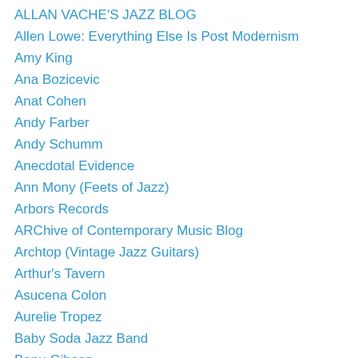ALLAN VACHE'S JAZZ BLOG
Allen Lowe: Everything Else Is Post Modernism
Amy King
Ana Bozicevic
Anat Cohen
Andy Farber
Andy Schumm
Anecdotal Evidence
Ann Mony (Feets of Jazz)
Arbors Records
ARChive of Contemporary Music Blog
Archtop (Vintage Jazz Guitars)
Arthur's Tavern
Asucena Colon
Aurelie Tropez
Baby Soda Jazz Band
Banu Gibson
Barbara Lea
Barbara Rosene
Bebop Spoken Here